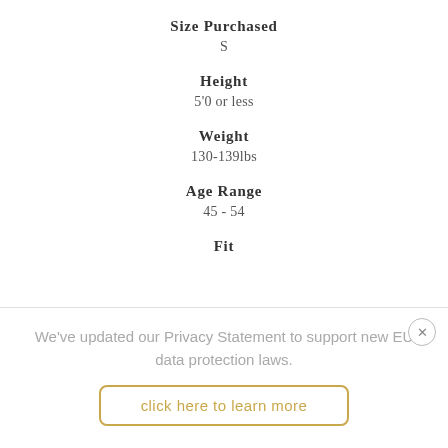Size Purchased
S
Height
5'0 or less
Weight
130-139lbs
Age Range
45 - 54
Fit
We've updated our Privacy Statement to support new EU data protection laws.
click here to learn more